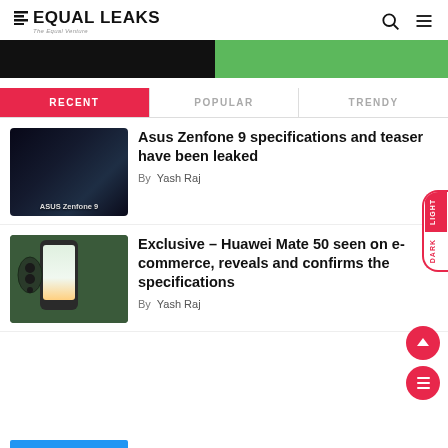EQUAL LEAKS — The Equal Venture
[Figure (screenshot): Banner strip with black left half and green right half]
RECENT | POPULAR | TRENDY
Asus Zenfone 9 specifications and teaser have been leaked
By Yash Raj
Exclusive – Huawei Mate 50 seen on e-commerce, reveals and confirms the specifications
By Yash Raj